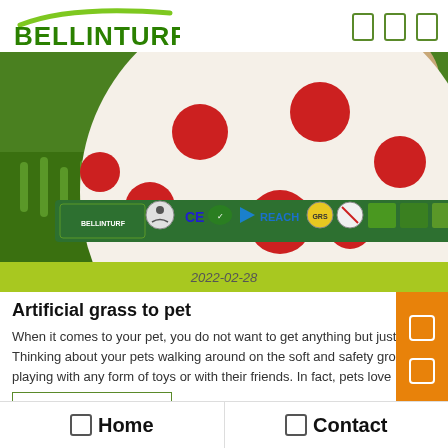BELLINTURF
[Figure (photo): A cat peeking over a red and white polka-dotted ball or pot on artificial green grass, with certification logos overlaid (BELLINTURF, CE, REACH, and other safety/quality icons)]
2022-02-28
Artificial grass to pet
When it comes to your pet, you do not want to get anything but just the best. Thinking about your pets walking around on the soft and safety ground, playing with any form of toys or with their friends. In fact, pets love
🏠Home   📞Contact